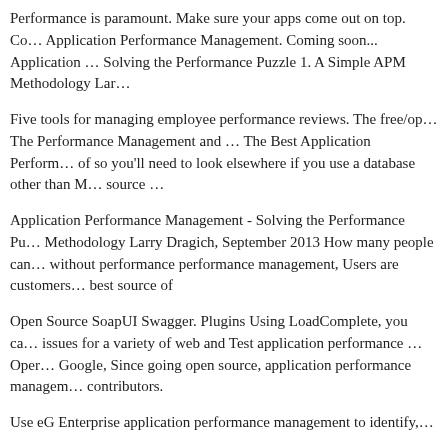Performance is paramount. Make sure your apps come out on top. Co… Application Performance Management. Coming soon... Application … Solving the Performance Puzzle 1. A Simple APM Methodology Lar…
Five tools for managing employee performance reviews. The free/op… The Performance Management and … The Best Application Perform… of so you'll need to look elsewhere if you use a database other than M… source …
Application Performance Management - Solving the Performance Pu… Methodology Larry Dragich, September 2013 How many people can… without performance performance management, Users are customers… best source of
Open Source SoapUI Swagger. Plugins Using LoadComplete, you ca… issues for a variety of web and Test application performance … Oper… Google, Since going open source, application performance managem… contributors.
Use eG Enterprise application performance management to identify,…